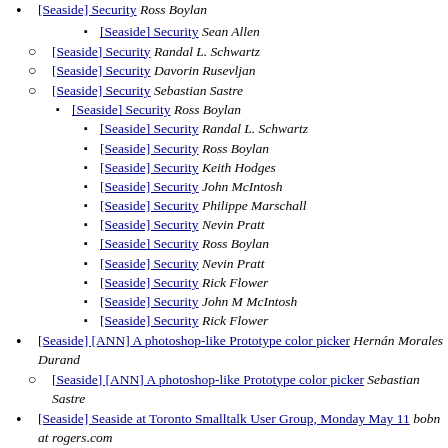[Seaside] Security  Ross Boylan
[Seaside] Security  Sean Allen
[Seaside] Security  Randal L. Schwartz
[Seaside] Security  Davorin Rusevljan
[Seaside] Security  Sebastian Sastre
[Seaside] Security  Ross Boylan
[Seaside] Security  Randal L. Schwartz
[Seaside] Security  Ross Boylan
[Seaside] Security  Keith Hodges
[Seaside] Security  John McIntosh
[Seaside] Security  Philippe Marschall
[Seaside] Security  Nevin Pratt
[Seaside] Security  Ross Boylan
[Seaside] Security  Nevin Pratt
[Seaside] Security  Rick Flower
[Seaside] Security  John M McIntosh
[Seaside] Security  Rick Flower
[Seaside] [ANN] A photoshop-like Prototype color picker  Hernán Morales Durand
[Seaside] [ANN] A photoshop-like Prototype color picker  Sebastian Sastre
[Seaside] Seaside at Toronto Smalltalk User Group, Monday May 11  bobn at rogers.com
[Seaside] Suffers Seaside from amateurish circle-jerk mentality?  Peter Jedermann
[Seaside] Suffers Seaside from amateurish circle-jerk mentality? (continues)